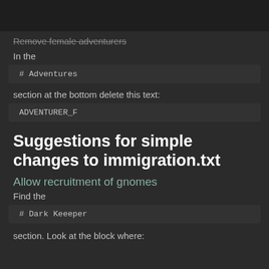Remove female adventurers
In the
# Adventures
section at the bottom delete this text:
ADVENTURER_F
Suggestions for simple changes to immigration.txt
Allow recruitment of gnomes
Find the
# Dark Keeeper
section. Look at the block where: